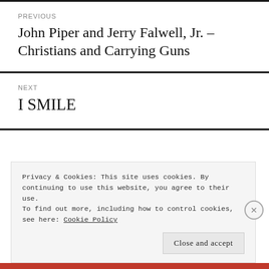PREVIOUS
John Piper and Jerry Falwell, Jr. – Christians and Carrying Guns
NEXT
I SMILE
Privacy & Cookies: This site uses cookies. By continuing to use this website, you agree to their use.
To find out more, including how to control cookies, see here: Cookie Policy
Close and accept